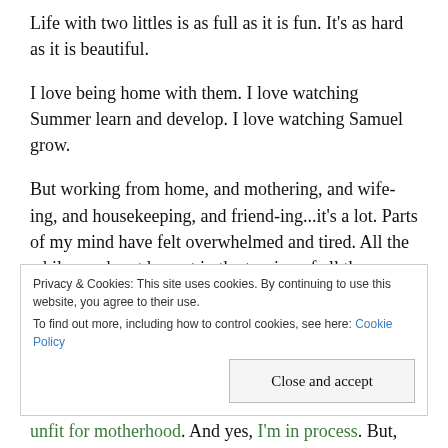Life with two littles is as full as it is fun. It's as hard as it is beautiful.
I love being home with them. I love watching Summer learn and develop. I love watching Samuel grow.
But working from home, and mothering, and wife-ing, and housekeeping, and friend-ing...it's a lot. Parts of my mind have felt overwhelmed and tired. All the while, my heart has sat in the tension of all these demands with a sense of contentment.
Privacy & Cookies: This site uses cookies. By continuing to use this website, you agree to their use. To find out more, including how to control cookies, see here: Cookie Policy | Close and accept
unfit for motherhood. And yes, I'm in process. But,